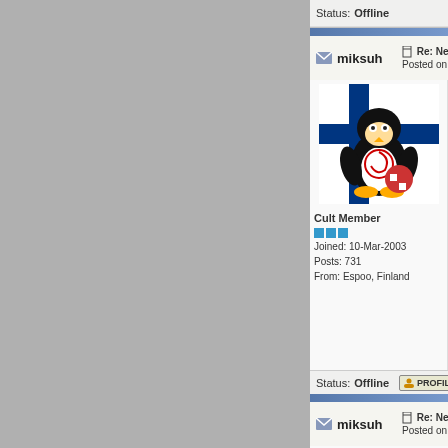Status: Offline
[Figure (screenshot): Profile and Report buttons in forum toolbar]
miksuh
Re: New TvR for TV tuner in Medi
Posted on 29-Nov-2004 11:34:45
[Figure (illustration): Tux Linux penguin avatar with Finnish flag and Debian ball]
Cult Member
Joined: 10-Mar-2003
Posts: 731
From: Espoo, Finland
@tjaoz

Eh... AFAIK. people are success gfx.card There is also a thre here.

Last edited by miksuh on 29-Nov-200
Last edited by miksuh on 29-Nov-200
Status: Offline
[Figure (screenshot): Profile and Report buttons]
miksuh
Re: New TvR for TV tuner in Medi
Posted on 29-Nov-2004 11:44:40
[Figure (illustration): Tux Linux penguin avatar with Finnish flag]
I wonder how do you implement
Quote:
* seeking radio/TV stations
* Stopping (freezing) TV frames and sav